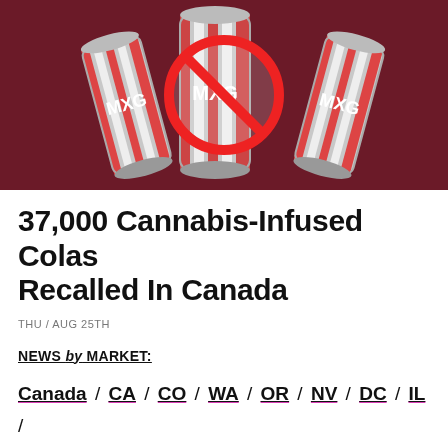[Figure (photo): Photo of cannabis-infused cola cans with a red prohibition/no symbol overlaid on them, set against a dark red/maroon background]
37,000 Cannabis-Infused Colas Recalled In Canada
THU / AUG 25TH
NEWS by MARKET:
Canada / CA / CO / WA / OR / NV / DC / IL / MI / MA / ME / AK / VT / AZ / VA / MO / NM + NY + NJ + CT + More...